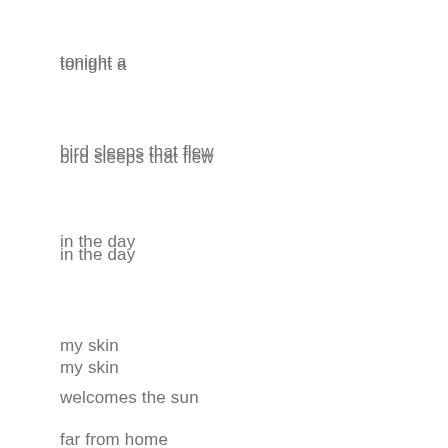tonight a
bird sleeps that flew
in the day
my skin
welcomes the sun
far from home
the sun
rises for such a